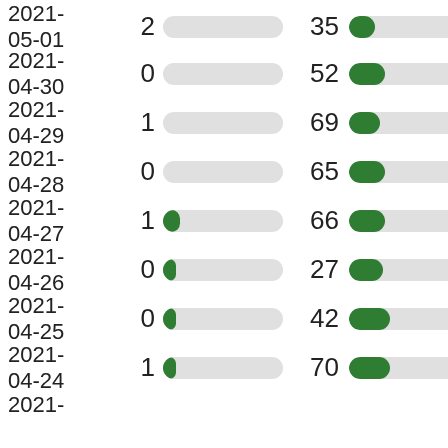| Date | Value1 | Bar1 | Value2 | Bar2 |
| --- | --- | --- | --- | --- |
| 2021-05-01 | 2 |  | 35 |  |
| 2021-04-30 | 0 |  | 52 |  |
| 2021-04-29 | 1 |  | 69 |  |
| 2021-04-28 | 0 |  | 65 |  |
| 2021-04-27 | 1 |  | 66 |  |
| 2021-04-26 | 0 |  | 27 |  |
| 2021-04-25 | 0 |  | 42 |  |
| 2021-04-24 | 1 |  | 70 |  |
| 2021- |  |  |  |  |